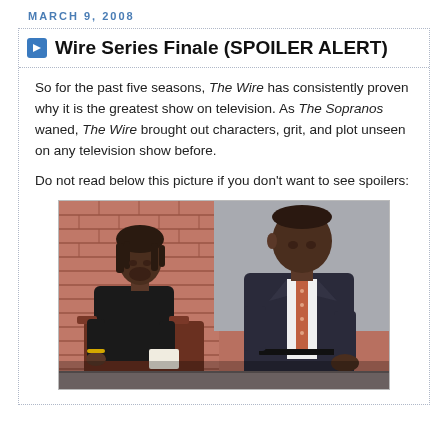MARCH 9, 2008
Wire Series Finale (SPOILER ALERT)
So for the past five seasons, The Wire has consistently proven why it is the greatest show on television. As The Sopranos waned, The Wire brought out characters, grit, and plot unseen on any television show before.
Do not read below this picture if you don't want to see spoilers:
[Figure (photo): Two men seated outdoors against a brick wall background. Left: a lean man in a black shirt with dreadlocks. Right: a larger man in a dark suit with a striped tie.]